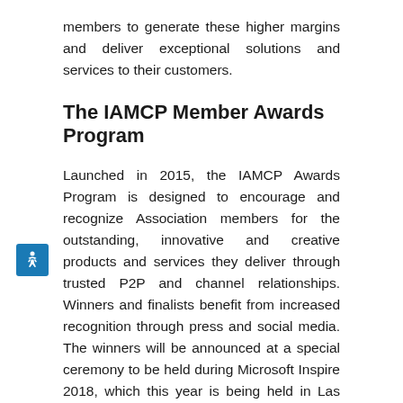members to generate these higher margins and deliver exceptional solutions and services to their customers.
The IAMCP Member Awards Program
Launched in 2015, the IAMCP Awards Program is designed to encourage and recognize Association members for the outstanding, innovative and creative products and services they deliver through trusted P2P and channel relationships. Winners and finalists benefit from increased recognition through press and social media. The winners will be announced at a special ceremony to be held during Microsoft Inspire 2018, which this year is being held in Las Vegas, Nevada.
0 Comments